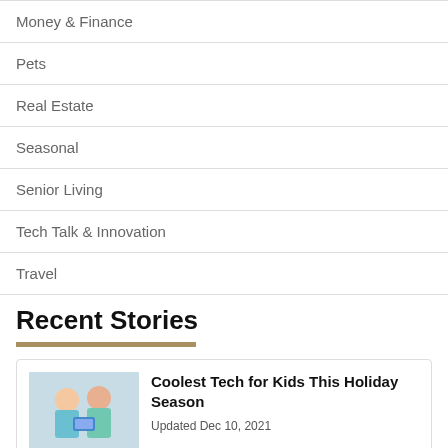Money & Finance
Pets
Real Estate
Seasonal
Senior Living
Tech Talk & Innovation
Travel
Recent Stories
[Figure (photo): Photo of children with tech gadgets/toys]
Coolest Tech for Kids This Holiday Season
Updated Dec 10, 2021